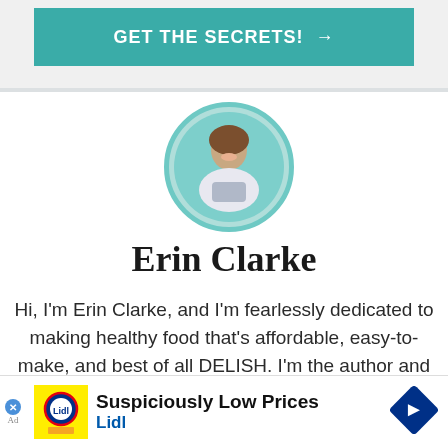[Figure (other): Teal/dark-teal call-to-action button with text GET THE SECRETS! and arrow]
[Figure (photo): Circular profile photo of Erin Clarke, a woman with brown hair smiling in a kitchen setting with food, framed by a teal circular border]
Erin Clarke
Hi, I'm Erin Clarke, and I'm fearlessly dedicated to making healthy food that's affordable, easy-to-make, and best of all DELISH. I'm the author and recipe developer here at wellplated.com and of The Well Plated Cookbook. I adore both sweets and vege... time
[Figure (other): Lidl advertisement banner: Suspiciously Low Prices with Lidl logo and blue diamond arrow icon]